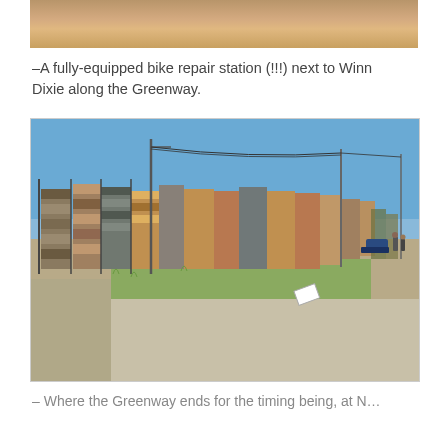[Figure (photo): Partial view of a photo at the top of page, showing a sandy/orange surface with a circular object, cropped.]
–A fully-equipped bike repair station (!!!) next to Winn Dixie along the Greenway.
[Figure (photo): Outdoor photo showing a row of stacked materials/pallets behind a chain-link fence along a dirt road under a clear blue sky, with utility poles and a few people/vehicles visible in the background.]
– Where the Greenway ends for the timing being, at N…